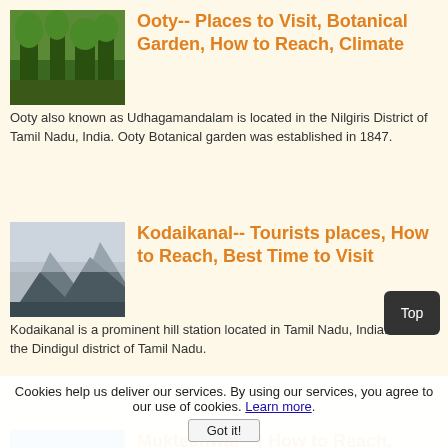[Figure (photo): Green forested area representing Ooty botanical garden]
Ooty-- Places to Visit, Botanical Garden, How to Reach, Climate
Ooty also known as Udhagamandalam is located in the Nilgiris District of Tamil Nadu, India. Ooty Botanical garden was established in 1847.
[Figure (photo): Rocky misty hill station representing Kodaikanal]
Kodaikanal-- Tourists places, How to Reach, Best Time to Visit
Kodaikanal is a prominent hill station located in Tamil Nadu, India. It is in the Dindigul district of Tamil Nadu.
[Figure (photo): Blue sky mountain view representing Mukteshwar]
Mukteshwar-- | How to Reach, Tourism, Climate, Best Time |
Mukteshwar is a village which sits high on the Kumaon Hills in Nainital district of Uttarakhand, India. It is at an elevation of 2,171 m
Cookies help us deliver our services. By using our services, you agree to our use of cookies. Learn more.
Got it!